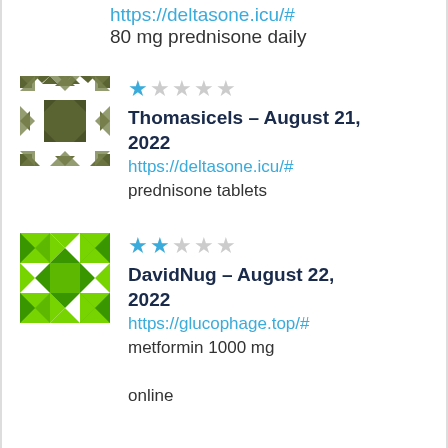https://deltasone.icu/# 80 mg prednisone daily
[Figure (illustration): Avatar icon for user Thomasicels - geometric mosaic pattern in olive/dark green colors]
★☆☆☆☆ Thomasicels – August 21, 2022 https://deltasone.icu/# prednisone tablets
[Figure (illustration): Avatar icon for user DavidNug - geometric mosaic pattern in lime green colors]
★★☆☆☆ DavidNug – August 22, 2022 https://glucophage.top/# metformin 1000 mg online